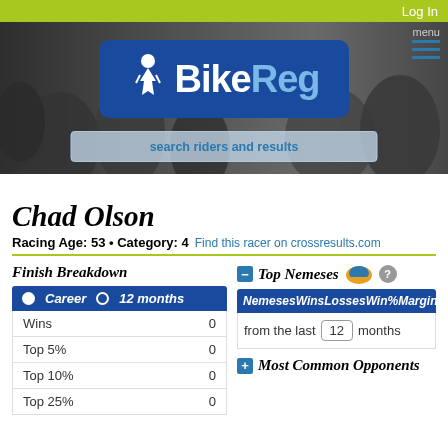Log In
[Figure (logo): BikeReg logo with cyclist icon on blue background, search bar below]
Chad Olson
Racing Age: 53 • Category: 4   Find this racer on crossresults.com
Finish Breakdown
|  |  |
| --- | --- |
| Wins | 0 |
| Top 5% | 0 |
| Top 10% | 0 |
| Top 25% | 0 |
Top Nemeses
| Nemeses | Wins | Losses | Win% | Margin |
| --- | --- | --- | --- | --- |
from the last 12 months
Most Common Opponents